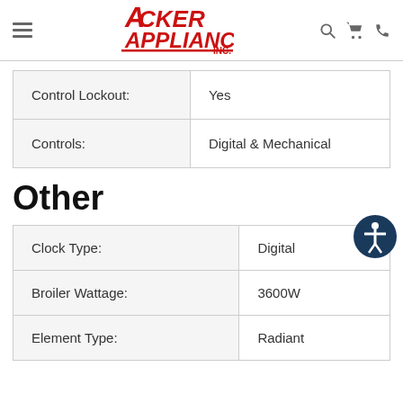Acker Appliance Inc. — website header with navigation
| Attribute | Value |
| --- | --- |
| Control Lockout: | Yes |
| Controls: | Digital & Mechanical |
Other
| Attribute | Value |
| --- | --- |
| Clock Type: | Digital |
| Broiler Wattage: | 3600W |
| Element Type: | Radiant |